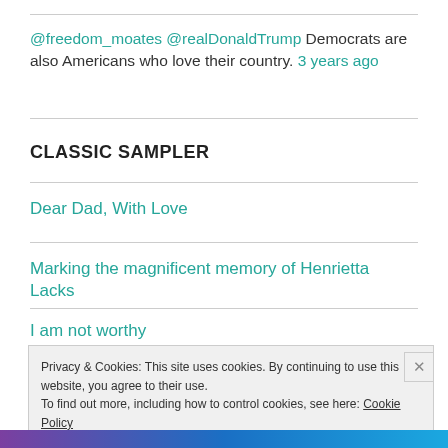@freedom_moates @realDonaldTrump Democrats are also Americans who love their country. 3 years ago
CLASSIC SAMPLER
Dear Dad, With Love
Marking the magnificent memory of Henrietta Lacks
I am not worthy
Privacy & Cookies: This site uses cookies. By continuing to use this website, you agree to their use. To find out more, including how to control cookies, see here: Cookie Policy
Close and accept